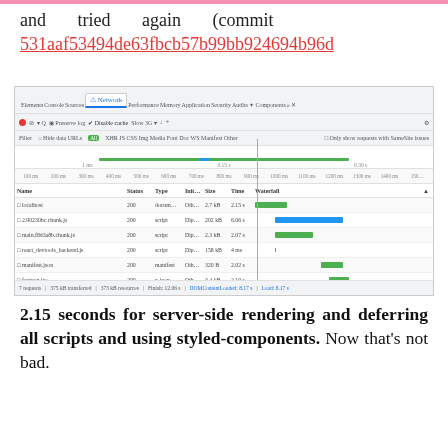and tried again (commit 531aaf53494de63fbcb57b99bb924694b96d
[Figure (screenshot): Chrome DevTools Network tab screenshot showing waterfall chart of page load requests. Files listed: localhost, 2.90230bc.chunk.js, main.f8d3a8b.chunk.js, react_devtools_backend.js, manifest.json, favicon.ico, logo192.png. Status 200 for all. Green and blue waterfall bars. Footer shows 7 requests, DOMContentLoaded 8.17s, Load 8.17s.]
2.15 seconds for server-side rendering and deferring all scripts and using styled-components. Now that's not bad.